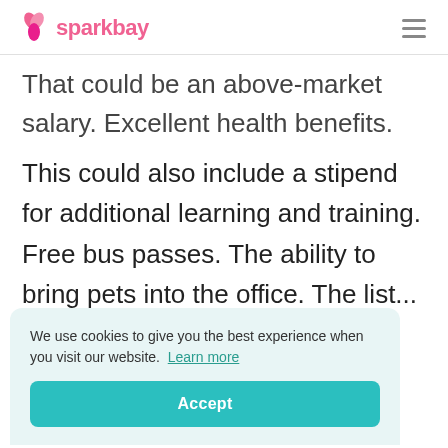sparkbay
That could be an above-market salary. Excellent health benefits.
This could also include a stipend for additional learning and training. Free bus passes. The ability to bring pets into the office. The list...
We use cookies to give you the best experience when you visit our website. Learn more
Accept